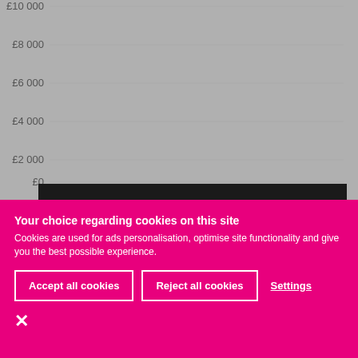[Figure (line-chart): Partial line chart visible showing y-axis labels £0 to £10 000 and x-axis years 2014 to 2022 on grey background]
Your choice regarding cookies on this site
Cookies are used for ads personalisation, optimise site functionality and give you the best possible experience.
Accept all cookies
Reject all cookies
Settings